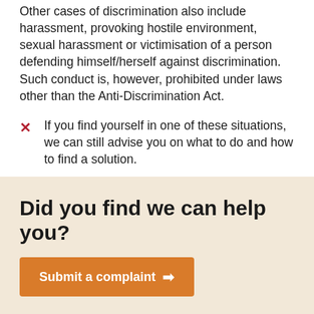Other cases of discrimination also include harassment, provoking hostile environment, sexual harassment or victimisation of a person defending himself/herself against discrimination. Such conduct is, however, prohibited under laws other than the Anti-Discrimination Act.
If you find yourself in one of these situations, we can still advise you on what to do and how to find a solution.
Did you find we can help you?
Submit a complaint →